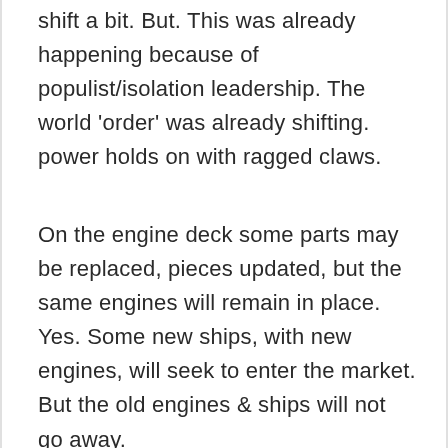shift a bit. But. This was already happening because of populist/isolation leadership. The world 'order' was already shifting. power holds on with ragged claws.
On the engine deck some parts may be replaced, pieces updated, but the same engines will remain in place. Yes. Some new ships, with new engines, will seek to enter the market. But the old engines & ships will not go away.